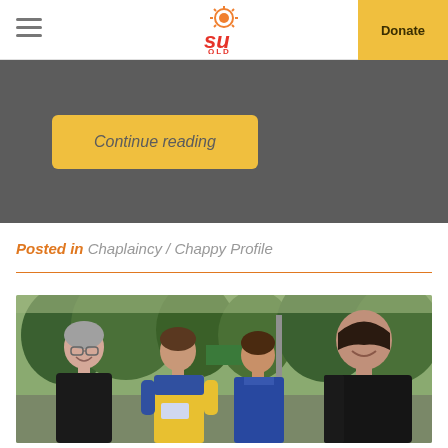SU QLD — Donate
[Figure (screenshot): Dark grey section with a gold 'Continue reading' button]
Posted in Chaplaincy / Chappy Profile
[Figure (photo): Outdoor photo of four people — an older woman (left), two young school-age boys in blue/yellow uniforms (centre), and a younger woman (right), standing in front of trees]